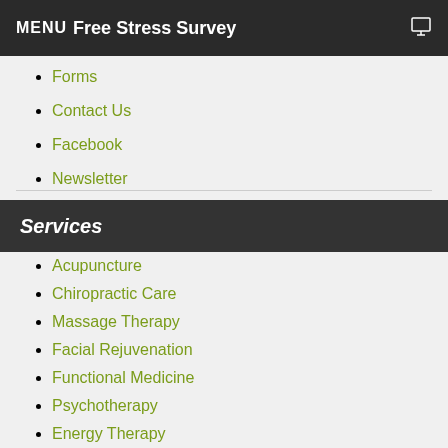MENU  Free Stress Survey
Forms
Contact Us
Facebook
Newsletter
Review Us
Services
Acupuncture
Chiropractic Care
Massage Therapy
Facial Rejuvenation
Functional Medicine
Psychotherapy
Energy Therapy
Hypnotherapy